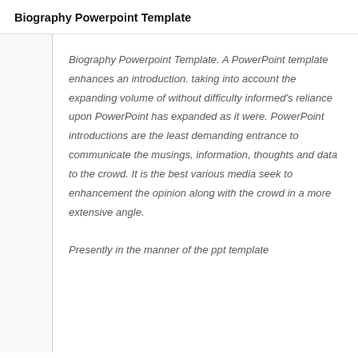Biography Powerpoint Template
Biography Powerpoint Template. A PowerPoint template enhances an introduction. taking into account the expanding volume of without difficulty informed's reliance upon PowerPoint has expanded as it were. PowerPoint introductions are the least demanding entrance to communicate the musings, information, thoughts and data to the crowd. It is the best various media seek to enhancement the opinion along with the crowd in a more extensive angle.
Presently in the manner of the ppt template